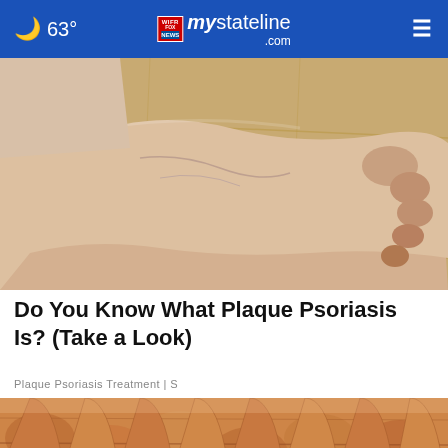🌙 63° | mystateline.com
[Figure (photo): Close-up photograph of a human foot and ankle resting on a wooden floor, showing dry, scaly skin consistent with psoriasis]
Do You Know What Plaque Psoriasis Is? (Take a Look)
Plaque Psoriasis Treatment | S
[Figure (photo): Close-up photograph of severely dry, scaly, inflamed skin on hands/fingers showing plaque psoriasis symptoms, with an advertisement overlay reading 'Adopt a teen. You can't imagine the reward.' from Adopt US Kids]
Adopt a teen. You can't imagine the reward.